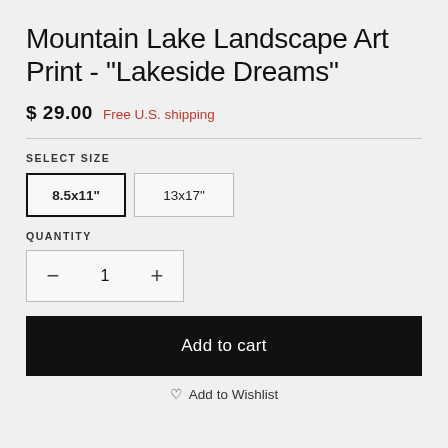Mountain Lake Landscape Art Print - "Lakeside Dreams"
$ 29.00  Free U.S. shipping
SELECT SIZE
8.5x11"  13x17"
QUANTITY
- 1 +
Add to cart
♡ Add to Wishlist